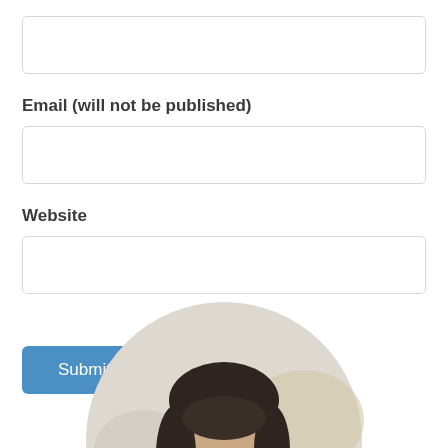[Figure (screenshot): Empty text input field (top, partially visible), followed by Email label and input, Website label and input, Submit Comment button, and partial circular avatar photo at bottom]
Email (will not be published)
Website
Submit Comment
[Figure (photo): Partial circular cropped photo of a person with dark hair, bottom half of page]